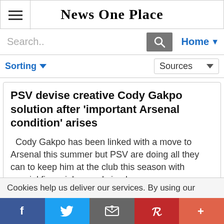News One Place
Search..
Home
Sorting   Sources
PSV devise creative Cody Gakpo solution after 'important Arsenal condition' arises
Cody Gakpo has been linked with a move to Arsenal this summer but PSV are doing all they can to keep him at the club this season with special financial rewards in place ..
Cookies help us deliver our services. By using our
f  Twitter  Email  Pinterest  +